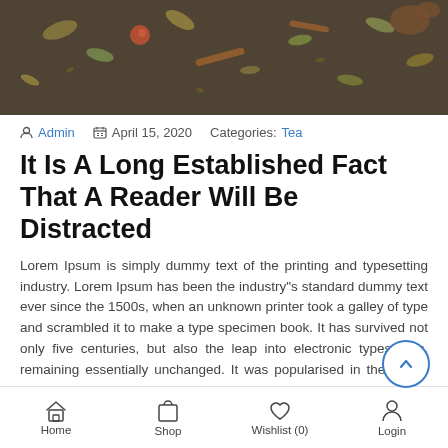[Figure (photo): Hero image showing dried tea leaves, herbs, flowers and spices scattered on a dark wooden surface]
Admin   April 15, 2020   Categories: Tea
It Is A Long Established Fact That A Reader Will Be Distracted
Lorem Ipsum is simply dummy text of the printing and typesetting industry. Lorem Ipsum has been the industry"s standard dummy text ever since the 1500s, when an unknown printer took a galley of type and scrambled it to make a type specimen book. It has survived not only five centuries, but also the leap into electronic typesetting, remaining essentially unchanged. It was popularised in the 1960s with the release of Letraset sheets containing Lorem Ipsum passages, and more
Home   Shop   Wishlist (0)   Login